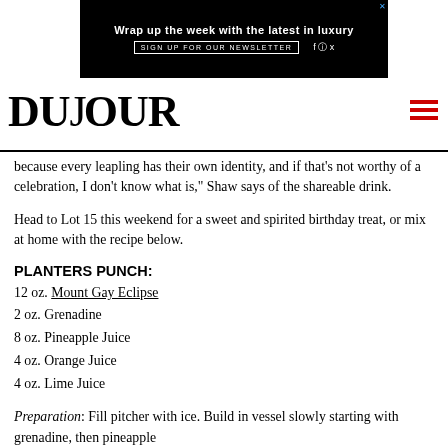[Figure (screenshot): Black advertisement banner: 'Wrap up the week with the latest in luxury' with SIGN UP FOR OUR NEWSLETTER button and social media icons]
DUJOUR
because every leapling has their own identity, and if that's not worthy of a celebration, I don't know what is," Shaw says of the shareable drink.
Head to Lot 15 this weekend for a sweet and spirited birthday treat, or mix at home with the recipe below.
PLANTERS PUNCH:
12 oz. Mount Gay Eclipse
2 oz. Grenadine
8 oz. Pineapple Juice
4 oz. Orange Juice
4 oz. Lime Juice
Preparation: Fill pitcher with ice. Build in vessel slowly starting with grenadine, then pineapple